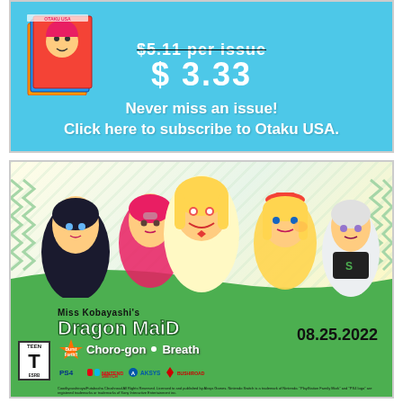[Figure (illustration): Top advertisement for Otaku USA magazine subscription. Light blue background with manga magazine covers on the left, strikethrough price and sale price '$3.33' displayed, with white bold text reading 'Never miss an issue! Click here to subscribe to Otaku USA.']
[Figure (illustration): Bottom advertisement for Miss Kobayashi's Dragon Maid Burst Forth!! Choro-gon Breath video game. Features anime characters (group of five girls including a maid character in center), colorful game logo on green background, release date 08.25.2022, ESRB Teen rating, PS4/Nintendo Switch platforms, Aksys Games and Bushiroad publishers.]
Coodkyoushiroya/Futabasha Cbushroad All Rights Reserved. Licensed to and published by Aksys Games. Nintendo Switch is a trademark of Nintendo. 'PlayStation Family Mark' and 'PS4 logo' are registered trademarks or trademarks of Sony Interactive Entertainment inc.